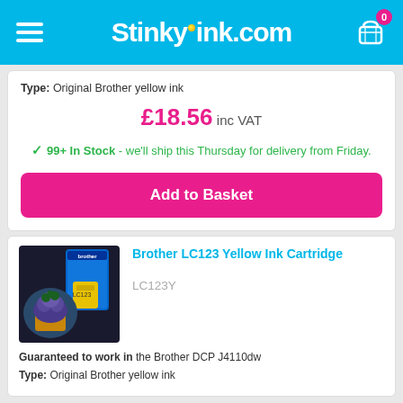StinkyInk.com
Type: Original Brother yellow ink
£18.56 inc VAT
✓ 99+ In Stock - we'll ship this Thursday for delivery from Friday.
Add to Basket
Brother LC123 Yellow Ink Cartridge
LC123Y
Guaranteed to work in the Brother DCP J4110dw
Type: Original Brother yellow ink